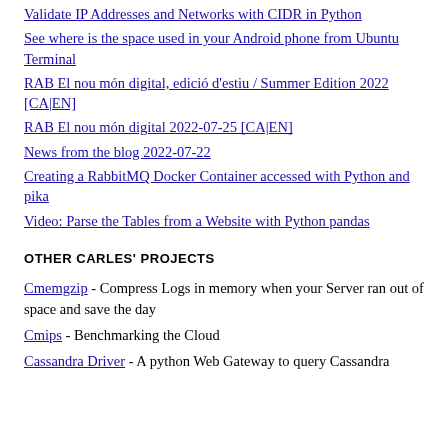Validate IP Addresses and Networks with CIDR in Python
See where is the space used in your Android phone from Ubuntu Terminal
RAB El nou món digital, edició d'estiu / Summer Edition 2022 [CA|EN]
RAB El nou món digital 2022-07-25 [CA|EN]
News from the blog 2022-07-22
Creating a RabbitMQ Docker Container accessed with Python and pika
Video: Parse the Tables from a Website with Python pandas
OTHER CARLES' PROJECTS
Cmemgzip - Compress Logs in memory when your Server ran out of space and save the day
Cmips - Benchmarking the Cloud
Cassandra Driver - A python Web Gateway to query Cassandra